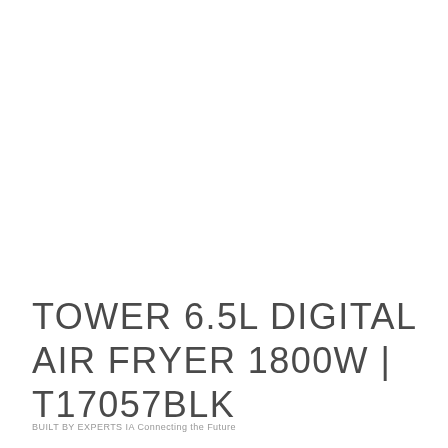TOWER 6.5L DIGITAL AIR FRYER 1800W | T17057BLK
BUILT BY EXPERTS IA Connecting the Future